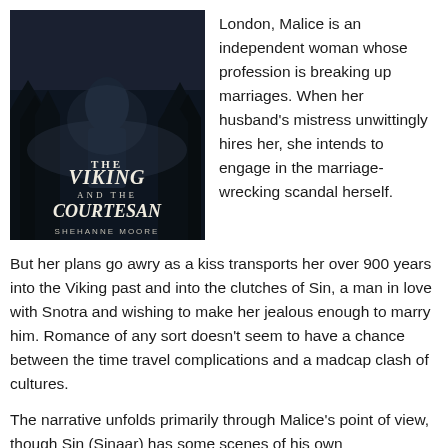[Figure (illustration): Book cover of 'The Viking and the Courtesan' by Shehanne Moore, featuring a dark atmospheric image of a figure in a forest with stylized white lettering for the title.]
London, Malice is an independent woman whose profession is breaking up marriages. When her husband's mistress unwittingly hires her, she intends to engage in the marriage-wrecking scandal herself. But her plans go awry as a kiss transports her over 900 years into the Viking past and into the clutches of Sin, a man in love with Snotra and wishing to make her jealous enough to marry him. Romance of any sort doesn't seem to have a chance between the time travel complications and a madcap clash of cultures.
The narrative unfolds primarily through Malice's point of view, though Sin (Sinaar) has some scenes of his own